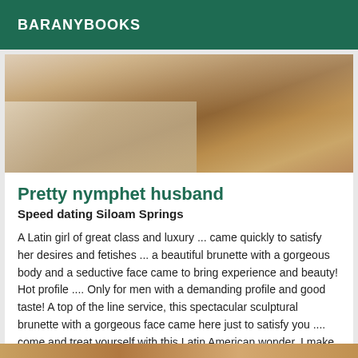BARANYBOOKS
[Figure (photo): Cropped photo of a person's legs and lower body, warm skin tones, appears to be outdoors or on a light surface]
Pretty nymphet husband
Speed dating Siloam Springs
A Latin girl of great class and luxury ... came quickly to satisfy her desires and fetishes ... a beautiful brunette with a gorgeous body and a seductive face came to bring experience and beauty! Hot profile .... Only for men with a demanding profile and good taste! A top of the line service, this spectacular sculptural brunette with a gorgeous face came here just to satisfy you .... come and treat yourself with this Latin American wonder, I make fetish achievements! I'm waiting for your deliciously hot kisses back from this hot brunette!
[Figure (photo): Partial bottom strip photo, warm tones visible at bottom of page]